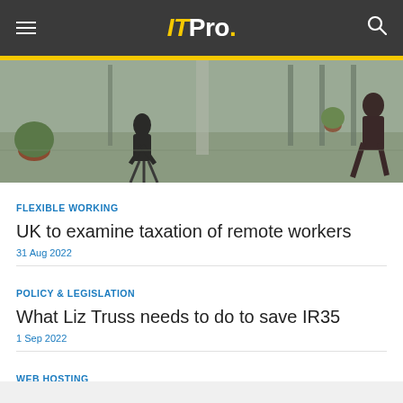ITPro.
[Figure (photo): Office interior showing a person seated at a workstation and another person walking, with large windows and tiled floor.]
FLEXIBLE WORKING
UK to examine taxation of remote workers
31 Aug 2022
POLICY & LEGISLATION
What Liz Truss needs to do to save IR35
1 Sep 2022
WEB HOSTING